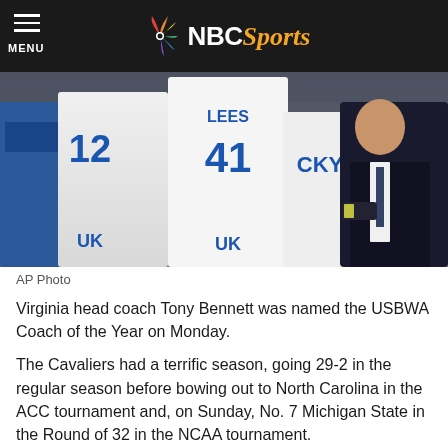MENU | NBC Sports
[Figure (photo): Kentucky basketball players wearing jerseys numbered 12 and 41 huddle with a coach in a suit during a game timeout. Players wearing white UK uniforms.]
AP Photo
Virginia head coach Tony Bennett was named the USBWA Coach of the Year on Monday.
The Cavaliers had a terrific season, going 29-2 in the regular season before bowing out to North Carolina in the ACC tournament and, on Sunday, No. 7 Michigan State in the Round of 32 in the NCAA tournament.
Now, if we're going to be fair — which a lot of people